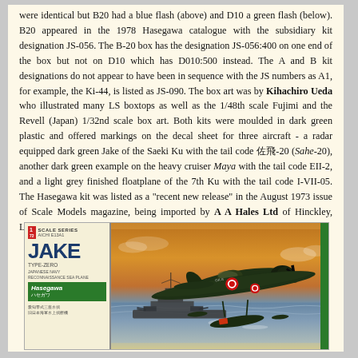were identical but B20 had a blue flash (above) and D10 a green flash (below). B20 appeared in the 1978 Hasegawa catalogue with the subsidiary kit designation JS-056. The B-20 box has the designation JS-056:400 on one end of the box but not on D10 which has D010:500 instead. The A and B kit designations do not appear to have been in sequence with the JS numbers as A1, for example, the Ki-44, is listed as JS-090. The box art was by Kihachiro Ueda who illustrated many LS boxtops as well as the 1/48th scale Fujimi and the Revell (Japan) 1/32nd scale box art. Both kits were moulded in dark green plastic and offered markings on the decal sheet for three aircraft - a radar equipped dark green Jake of the Saeki Ku with the tail code 佐飛-20 (Sahe-20), another dark green example on the heavy cruiser Maya with the tail code EII-2, and a light grey finished floatplane of the 7th Ku with the tail code I-VII-05. The Hasegawa kit was listed as a "recent new release" in the August 1973 issue of Scale Models magazine, being imported by A A Hales Ltd of Hinckley, Leics.
[Figure (photo): Hasegawa 1/72 Scale Series box art for the Aichi E13A1 Jake Type-Zero floatplane model kit. Left panel shows red badge with '1/72', 'SCALE SERIES', 'AICHI E13A1', large blue 'JAKE' text, 'TYPE-ZERO', Japanese text, Hasegawa green logo bar, and red kanji text at bottom. Right panel shows painted illustration of dark green floatplane in flight over ocean with warship in background, orange/sunset sky.]